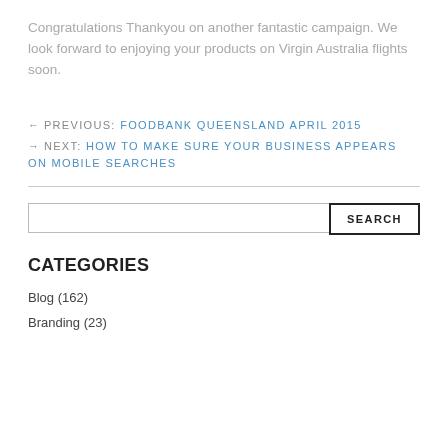Congratulations Thankyou on another fantastic campaign. We look forward to enjoying your products on Virgin Australia flights soon.
← PREVIOUS: FOODBANK QUEENSLAND APRIL 2015
→ NEXT: HOW TO MAKE SURE YOUR BUSINESS APPEARS ON MOBILE SEARCHES
CATEGORIES
Blog (162)
Branding (23)